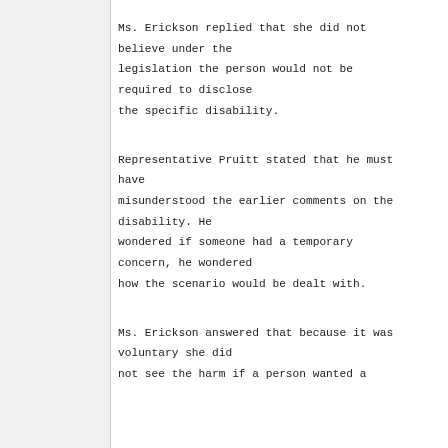Ms. Erickson replied that she did not believe under the legislation the person would not be required to disclose the specific disability.
Representative Pruitt stated that he must have misunderstood the earlier comments on the disability. He wondered if someone had a temporary concern, he wondered how the scenario would be dealt with.
Ms. Erickson answered that because it was voluntary she did not see the harm if a person wanted a